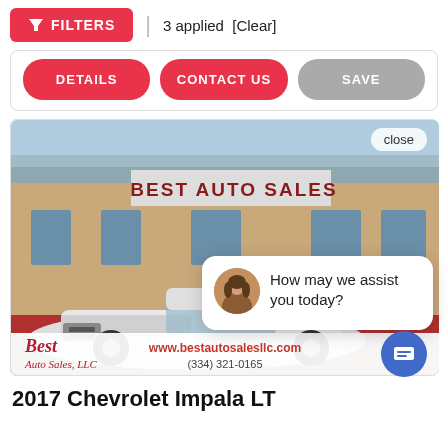FILTERS  |  3 applied  [Clear]
DETAILS  CONTACT US  SAVE
[Figure (photo): Photo of Best Auto Sales dealership building exterior with a white Chevrolet Impala parked in front. A chat popup overlay reads 'How may we assist you today?' with a woman's avatar. The bottom of the image shows the Best Auto Sales logo, website www.bestautosalesllc.com and phone (334) 321-0165. A 'close' button and blue chat circle button are also visible.]
2017 Chevrolet Impala LT